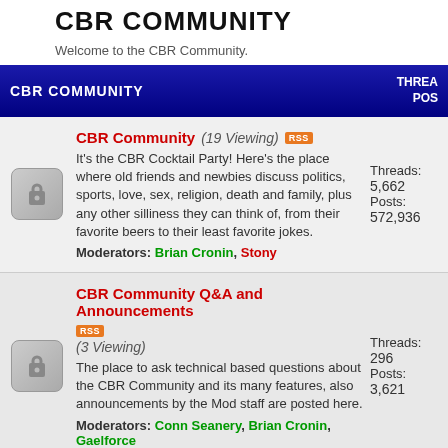CBR COMMUNITY
Welcome to the CBR Community.
CBR COMMUNITY   THREADS / POSTS
CBR Community (19 Viewing) It's the CBR Cocktail Party! Here's the place where old friends and newbies discuss politics, sports, love, sex, religion, death and family, plus any other silliness they can think of, from their favorite beers to their least favorite jokes. Moderators: Brian Cronin, Stony Threads: 5,662 Posts: 572,936
CBR Community Q&A and Announcements (3 Viewing) The place to ask technical based questions about the CBR Community and its many features, also announcements by the Mod staff are posted here. Moderators: Conn Seanery, Brian Cronin, Gaelforce Threads: 296 Posts: 3,621
Comics Should Be Good Community for visitors of the Comics Should Be Good! See the latest CSBG news at cbr.com/tag/csbg. Moderators: Brian Cronin Threads: 689 Posts: 1,493
COMICS   THREADS / POSTS